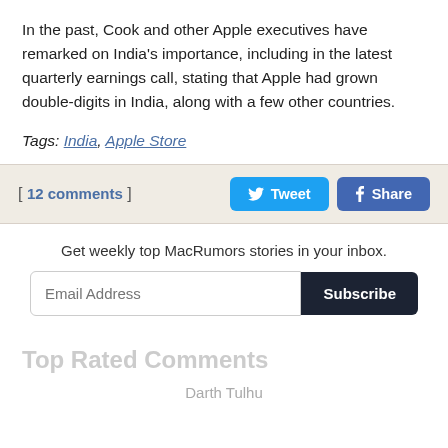In the past, Cook and other Apple executives have remarked on India's importance, including in the latest quarterly earnings call, stating that Apple had grown double-digits in India, along with a few other countries.
Tags: India, Apple Store
[ 12 comments ]
Get weekly top MacRumors stories in your inbox.
Top Rated Comments
Darth Tulhu